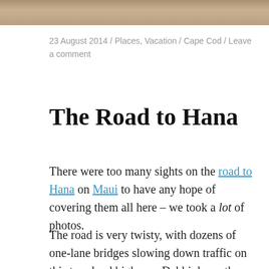[Figure (photo): Partial photo strip at the top of the page, cropped image of people outdoors]
23 August 2014 / Places, Vacation / Cape Cod / Leave a comment
The Road to Hana
There were too many sights on the road to Hana on Maui to have any hope of covering them all here – we took a lot of photos.
The road is very twisty, with dozens of one-lane bridges slowing down traffic on this two-land highway. Debbi drove the way out, but we stopped a lot to see waterfalls, such as these: